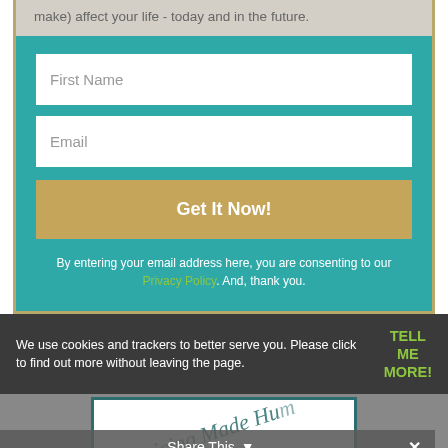make) affect your life - today and in the future.
First Name
Email
Get It Now!
By entering your email address here, you are consenting to our Privacy Policy. And, thank you.
We use cookies and trackers to better serve you. Please click to find out more without leaving the page.
TELL ME MORE!
[Figure (logo): Pricing Made Human logo text in teal italic script, rotated diagonally]
Share This